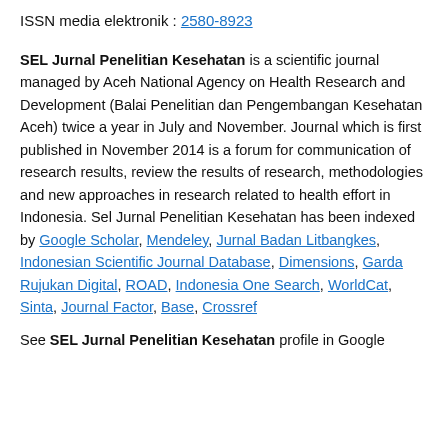ISSN media elektronik : 2580-8923
SEL Jurnal Penelitian Kesehatan is a scientific journal managed by Aceh National Agency on Health Research and Development (Balai Penelitian dan Pengembangan Kesehatan Aceh) twice a year in July and November. Journal which is first published in November 2014 is a forum for communication of research results, review the results of research, methodologies and new approaches in research related to health effort in Indonesia. Sel Jurnal Penelitian Kesehatan has been indexed by Google Scholar, Mendeley, Jurnal Badan Litbangkes, Indonesian Scientific Journal Database, Dimensions, Garda Rujukan Digital, ROAD, Indonesia One Search, WorldCat, Sinta, Journal Factor, Base, Crossref
See SEL Jurnal Penelitian Kesehatan profile in Google